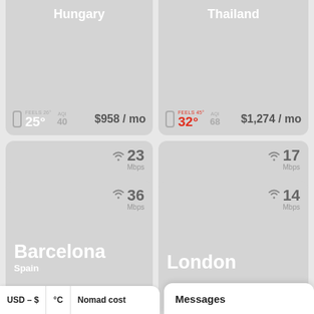Hungary
FEELS 26° 25° AQI 40 $958 / mo
Thailand
FEELS 45° 32° AQI 68 $1,274 / mo
Prague
Czechia
23 Mbps
FEELS 18° 18° AQI 69 $2,851 / mo
Chiang Mai
Thailand
17 Mbps
FEELS 37° 29° AQI 21 $914 / mo
Barcelona
Spain
36 Mbps
London
14 Mbps
USD – $ °C Nomad cost
Messages